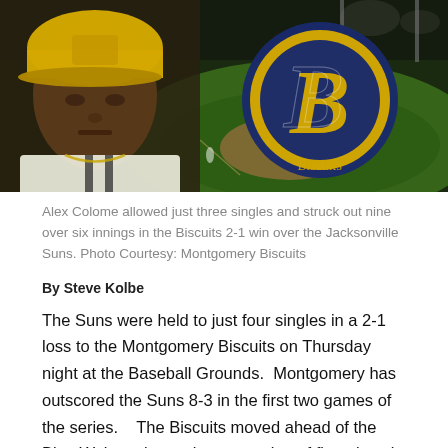[Figure (photo): Alex Colome in a yellow and black baseball uniform close-up on the left, with a Montgomery Biscuits logo (stylized gold 'B' with navy border) overlaid on a night baseball stadium background on the right.]
Alex Colome allowed just three singles and struck out nine over six innings in the Biscuits 2-1 win over the Jacksonville Suns. Photo Courtesy: Montgomery Biscuits
By Steve Kolbe
The Suns were held to just four singles in a 2-1 loss to the Montgomery Biscuits on Thursday night at the Baseball Grounds.  Montgomery has outscored the Suns 8-3 in the first two games of the series.    The Biscuits moved ahead of the Blue Wahoos into sole possession of first place in